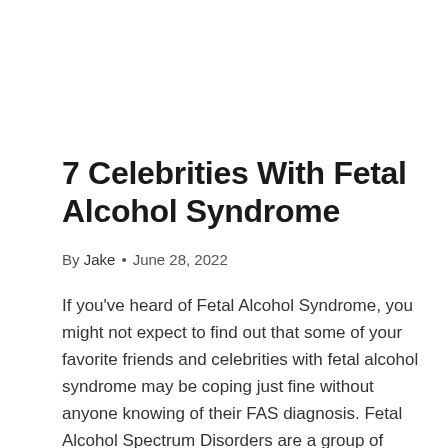7 Celebrities With Fetal Alcohol Syndrome
By Jake • June 28, 2022
If you've heard of Fetal Alcohol Syndrome, you might not expect to find out that some of your favorite friends and celebrities with fetal alcohol syndrome may be coping just fine without anyone knowing of their FAS diagnosis. Fetal Alcohol Spectrum Disorders are a group of congenital disabilities that occur when a